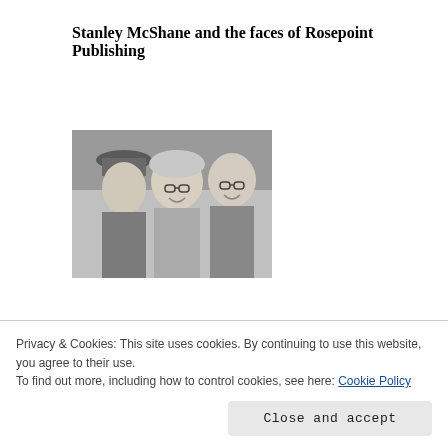Stanley McShane and the faces of Rosepoint Publishing
[Figure (photo): Black and white photo of three people: a man in a hat on the left, a woman with glasses in the middle smiling, and an older man with glasses on the right.]
I published my grandfather's manuscripts.
Patrick John “Stanley McShane” Rose had a LOT of tales to tell! And I published many of them. Read how
Privacy & Cookies: This site uses cookies. By continuing to use this website, you agree to their use.
To find out more, including how to control cookies, see here: Cookie Policy
Close and accept